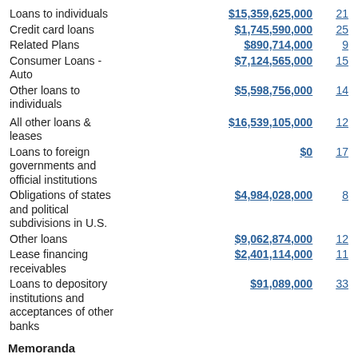| Description | Amount | % |
| --- | --- | --- |
| Loans to individuals | $15,359,625,000 | 21 |
| Credit card loans | $1,745,590,000 | 25 |
| Related Plans | $890,714,000 | 9 |
| Consumer Loans - Auto | $7,124,565,000 | 15 |
| Other loans to individuals | $5,598,756,000 | 14 |
| All other loans & leases | $16,539,105,000 | 12 |
| Loans to foreign governments and official institutions | $0 | 17 |
| Obligations of states and political subdivisions in U.S. | $4,984,028,000 | 8 |
| Other loans | $9,062,874,000 | 12 |
| Lease financing receivables | $2,401,114,000 | 11 |
| Loans to depository institutions and acceptances of other banks | $91,089,000 | 33 |
Memoranda